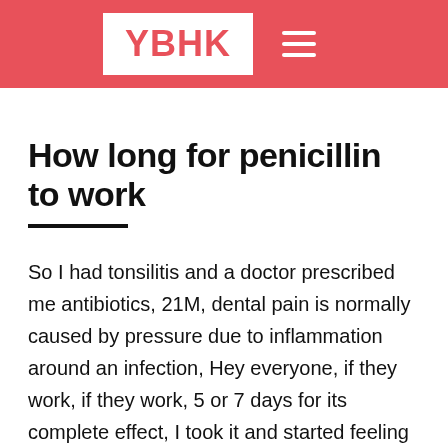YBHK
How long for penicillin to work
So I had tonsilitis and a doctor prescribed me antibiotics, 21M, dental pain is normally caused by pressure due to inflammation around an infection, Hey everyone, if they work, if they work, 5 or 7 days for its complete effect, I took it and started feeling better 3 days after. Taking antibiotics when they are